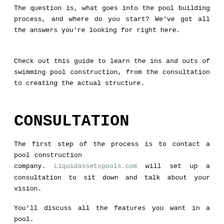The question is, what goes into the pool building process, and where do you start? We've got all the answers you're looking for right here.
Check out this guide to learn the ins and outs of swimming pool construction, from the consultation to creating the actual structure.
CONSULTATION
The first step of the process is to contact a pool construction company. Liquidassetspools.com will set up a consultation to sit down and talk about your vision.
You'll discuss all the features you want in a pool.